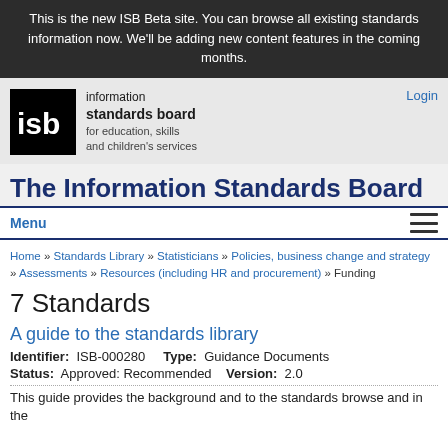This is the new ISB Beta site. You can browse all existing standards information now. We'll be adding new content features in the coming months.
[Figure (logo): Information Standards Board logo — black square with white 'isb' text, alongside organization name text: 'information standards board for education, skills and children's services']
Login
The Information Standards Board
Menu
Home » Standards Library » Statisticians » Policies, business change and strategy » Assessments » Resources (including HR and procurement) » Funding
7 Standards
A guide to the standards library
Identifier:  ISB-000280    Type:  Guidance Documents
Status:  Approved: Recommended    Version:  2.0
This guide provides the background and to the standards browse and in the